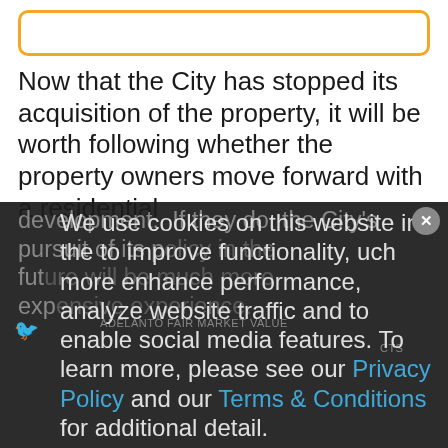[Figure (other): Orange-outlined rounded rectangle box at top]
Now that the City has stopped its acquisition of the property, it will be worth following whether the property owners move forward with a residential development.  If they do, the City's pursuit of its policy in the future will be much more expensive experience.
We use cookies on this website in the to improve functionality, enhance performance, analyze website traffic and to enable social media features. To learn more, please see our Privacy Policy and our Terms & Conditions for additional detail.